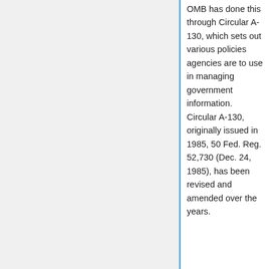OMB has done this through Circular A-130, which sets out various policies agencies are to use in managing government information. Circular A-130, originally issued in 1985, 50 Fed. Reg. 52,730 (Dec. 24, 1985), has been revised and amended over the years.